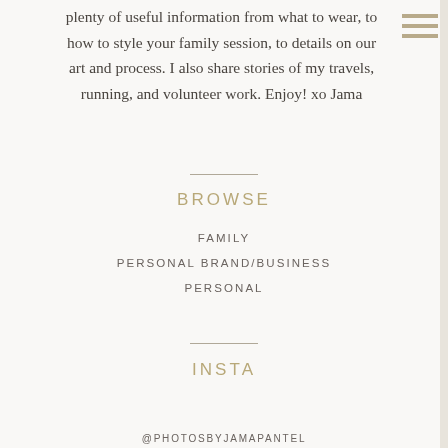plenty of useful information from what to wear, to how to style your family session, to details on our art and process. I also share stories of my travels, running, and volunteer work. Enjoy! xo Jama
BROWSE
FAMILY
PERSONAL BRAND/BUSINESS
PERSONAL
INSTA
@PHOTOSBYJAMAPANTEL